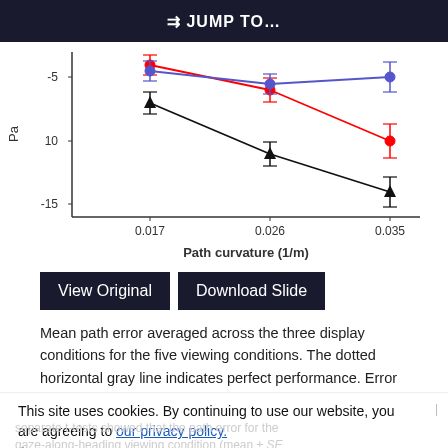⇒ JUMP TO…
[Figure (line-chart): ]
View Original   Download Slide
Mean path error averaged across the three display conditions for the five viewing conditions. The dotted horizontal gray line indicates perfect performance. Error bars are SEs across seven participants.
This site uses cookies. By continuing to use our website, you are agreeing to our privacy policy. Accept
separate t-tests showed that the path error for the gaze-along-heading viewing condition (mean ± SE